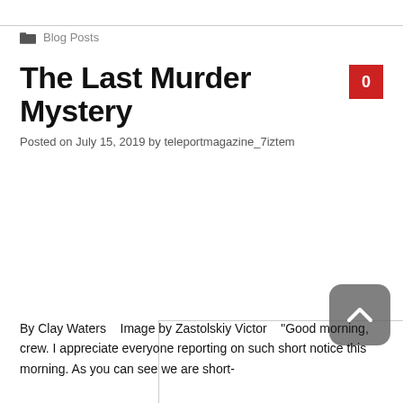Blog Posts
The Last Murder Mystery
Posted on July 15, 2019 by teleportmagazine_7iztem
[Figure (photo): Empty image placeholder with light grey border]
By Clay Waters   Image by Zastolskiy Victor   "Good morning, crew. I appreciate everyone reporting on such short notice this morning. As you can see we are short-